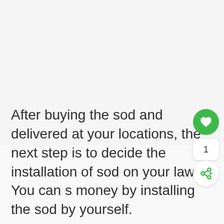[Figure (other): Large blank/white image area at top of page]
After buying the sod and delivered at your locations, the next step is to decide the installation of sod on your lawn. You can s money by installing the sod by yourself.